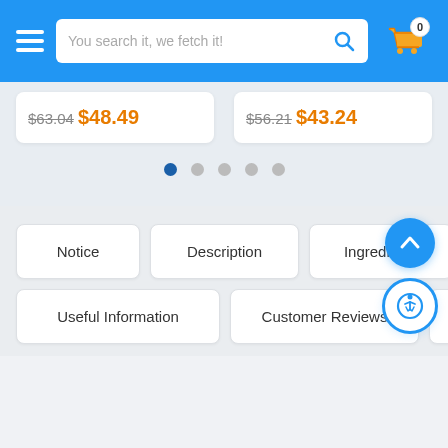[Figure (screenshot): E-commerce app header with hamburger menu, search bar reading 'You search it, we fetch it!', search icon, and shopping cart with badge showing 0]
$63.04 $48.49
$56.21 $43.24
[Figure (other): Carousel pagination dots: 5 dots, first one active (dark blue)]
Notice
Description
Ingredients
Useful Information
Customer Reviews
Q & A